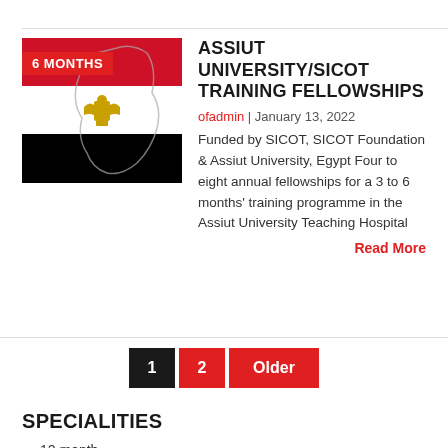[Figure (illustration): Egypt flag with map outline overlay and red badge reading '6 MONTHS']
ASSIUT UNIVERSITY/SICOT TRAINING FELLOWSHIPS
ofadmin | January 13, 2022
Funded by SICOT, SICOT Foundation & Assiut University, Egypt Four to eight annual fellowships for a 3 to 6 months' training programme in the Assiut University Teaching Hospital
Read More
1  2  Older
SPECIALITIES
12 month
2 years